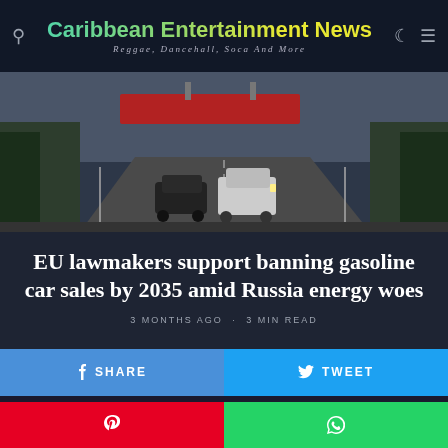Caribbean Entertainment News · Reggae, Dancehall, Soca And More
[Figure (photo): Cars driving on a highway road, dark overcast sky, trees and signage visible on sides]
EU lawmakers support banning gasoline car sales by 2035 amid Russia energy woes
3 MONTHS AGO · 3 MIN READ
SHARE
TWEET